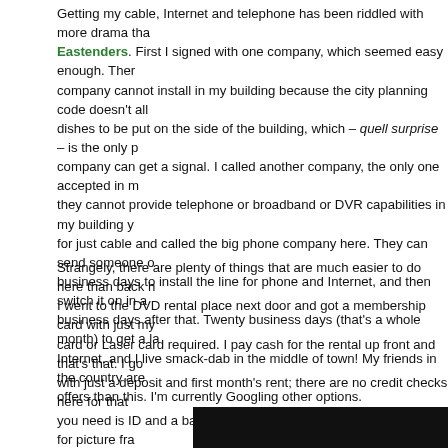Getting my cable, Internet and telephone has been riddled with more drama than Eastenders. First I signed with one company, which seemed easy enough. Then company cannot install in my building because the city planning code doesn't allow dishes to be put on the side of the building, which – quell surprise – is the only place company can get a signal. I called another company, the only one accepted in my building, they cannot provide telephone or broadband or DVR capabilities in my building, just cable and called the big phone company here. They can send someone out in business days to install the line for phone and Internet, and then switch it on in another business days after that. Twenty business days (that's a whole month) to get a landline and Internet, and I live smack-dab in the middle of town! My friends in the country are getting better offers than this. I'm currently Googling other options.
Strangely, there are plenty of things that are much easier to do here than back home. I went to the DVD rental place next door and got a membership card with just my name, no credit card or Laser card required. I pay cash for the rental up front and that's that. I got my apartment with just a deposit and first month's rent; there are no credit checks here for that sort of thing, all you need is ID and a bank account. And yesterday, while shopping for picture frames, I experienced genuinely good customer service. The store (Woodie's DIY) only had some of the frames I needed, and the clerk not only called around to all the other stores to find the rest, but said she and some coworkers would go and pick them up and bring them back to the store for me to pick up. She could have easily sent me around to the other half-dozen shops to find them, but she didn't.
[Figure (photo): Dark/black image at bottom of page]